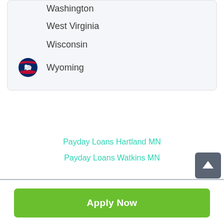Washington
West Virginia
Wisconsin
Wyoming
Payday Loans Hartland MN
Payday Loans Watkins MN
Apply Now
Applying does NOT affect your credit score! No credit check to apply.